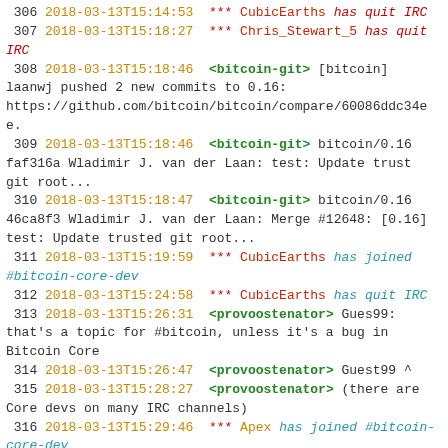IRC chat log lines 306-320, Bitcoin Core development channel
306 2018-03-13T15:14:53 *** CubicEarths has quit IRC
307 2018-03-13T15:18:27 *** Chris_Stewart_5 has quit IRC
308 2018-03-13T15:18:46 <bitcoin-git> [bitcoin] laanwj pushed 2 new commits to 0.16: https://github.com/bitcoin/bitcoin/compare/60086ddc34ee.
309 2018-03-13T15:18:46 <bitcoin-git> bitcoin/0.16 faf316a Wladimir J. van der Laan: test: Update trust git root...
310 2018-03-13T15:18:47 <bitcoin-git> bitcoin/0.16 46ca8f3 Wladimir J. van der Laan: Merge #12648: [0.16] test: Update trusted git root...
311 2018-03-13T15:19:59 *** CubicEarths has joined #bitcoin-core-dev
312 2018-03-13T15:24:58 *** CubicEarths has quit IRC
313 2018-03-13T15:26:31 <provoostenator> Gues99: that's a topic for #bitcoin, unless it's a bug in Bitcoin Core
314 2018-03-13T15:26:47 <provoostenator> Guest99 ^
315 2018-03-13T15:28:27 <provoostenator> (there are Core devs on many IRC channels)
316 2018-03-13T15:29:46 *** Apex has joined #bitcoin-core-dev
317 2018-03-13T15:31:33 *** HFRadical has quit IRC
318 2018-03-13T15:32:49 *** CubicEarths has joined #bitcoin-core-dev
319 2018-03-13T15:34:36 *** Apex has quit IRC
320 2018-03-13T15:37:38 *** CubicEarths has quit IRC